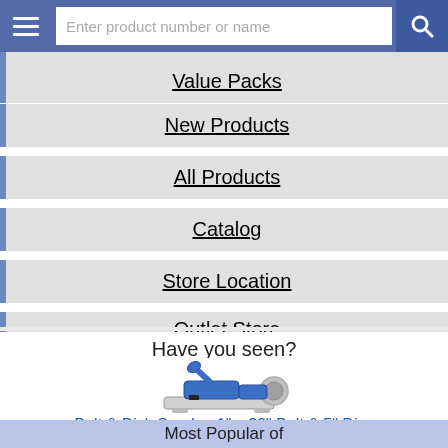Enter product number or name
Value Packs
New Products
All Products
Catalog
Store Location
Outlet Store
Have you seen?
[Figure (photo): Belt & Disk Sander machine, blue and white, with belt and disc attachments]
Belt & Disk Sander, 1" x 30" Belt & 5" Disc
Most Popular of